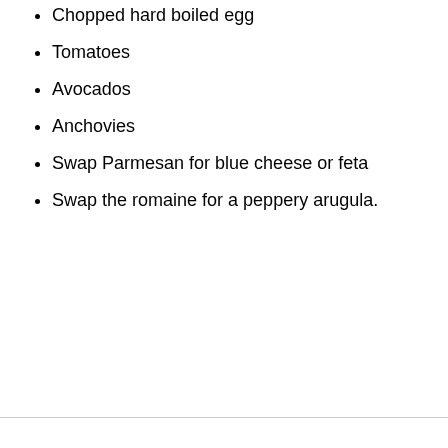Chopped hard boiled egg
Tomatoes
Avocados
Anchovies
Swap Parmesan for blue cheese or feta
Swap the romaine for a peppery arugula.